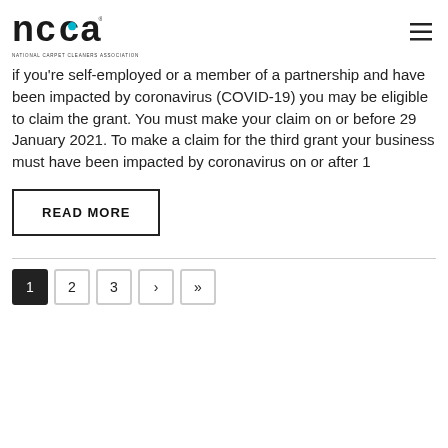NCCA - National Carpet Cleaners Association
if you're self-employed or a member of a partnership and have been impacted by coronavirus (COVID-19) you may be eligible to claim the grant. You must make your claim on or before 29 January 2021. To make a claim for the third grant your business must have been impacted by coronavirus on or after 1
READ MORE
Pagination: 1 2 3 > »